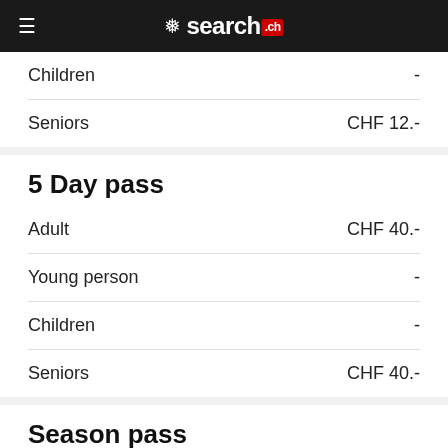search.ch
Children  -
Seniors  CHF 12.-
5 Day pass
Adult  CHF 40.-
Young person  -
Children  -
Seniors  CHF 40.-
Season pass
Adult  CHF 80.-
Young person  -
Children  -